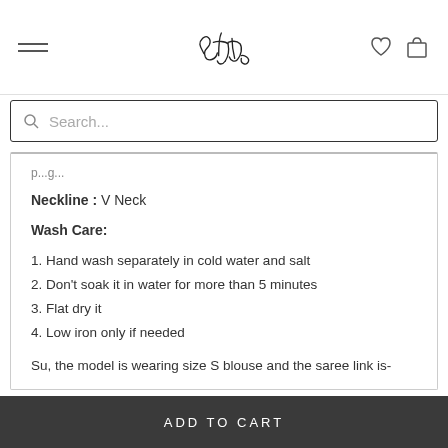Suta (logo) navigation bar with hamburger menu, heart icon, and bag icon
Search...
p...g...
Neckline : V Neck
Wash Care:
1. Hand wash separately in cold water and salt
2. Don't soak it in water for more than 5 minutes
3. Flat dry it
4. Low iron only if needed
Su, the model is wearing size S blouse and the saree link is-
https://suta.in/products/madamme-in-the-sky
ADD TO CART